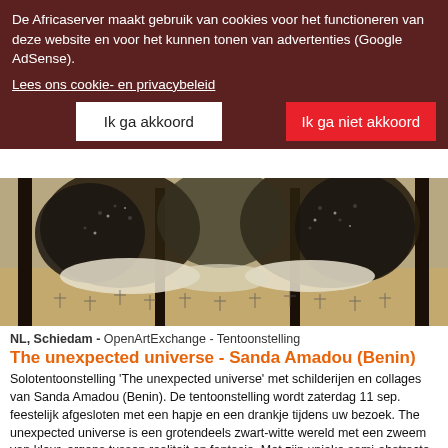De Africaserver maakt gebruik van cookies voor het functioneren van deze website en voor het kunnen tonen van advertenties (Google AdSense).
Lees ons cookie- en privacybeleid
Ik ga akkoord
Ik ga niet akkoord
[Figure (photo): Artwork showing abstract black dense tree-like forms against a sandy landscape background, part of The unexpected universe exhibition by Sanda Amadou]
NL, Schiedam - OpenArtExchange - Tentoonstelling
The unexpected universe - Sanda Amadou (Benin)
Solotentoonstelling 'The unexpected universe' met schilderijen en collages van Sanda Amadou (Benin). De tentoonstelling wordt zaterdag 11 sep. feestelijk afgesloten met een hapje en een drankje tijdens uw bezoek. The unexpected universe is een grotendeels zwart-witte wereld met een zweem van kleur, ergens tussen realiteit en fantasie. Met zijn unieke semi-abstracte beeldtaal, herinterpre​teert Amadou het nomadische Fulani universum en brengt dit tot leven. Een droomwereld gevormd door verschillende verstrengelde en soms overlappende elementen (touwen, lianen, knopen, bladeren, cirkels en andere patronen uit de oeroude Fulani tattoes), verhalend over